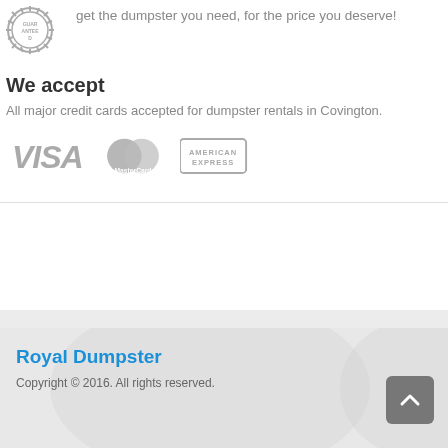get the dumpster you need, for the price you deserve!
We accept
All major credit cards accepted for dumpster rentals in Covington.
[Figure (logo): VISA, MasterCard, and American Express payment logos in gray]
Royal Dumpster
Copyright © 2016. All rights reserved.